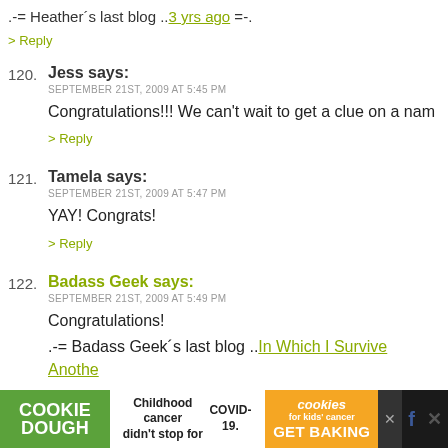.-= Heather's last blog ..3 yrs ago =-.
> Reply
120. Jess says: SEPTEMBER 21ST, 2009 AT 5:45 PM — Congratulations!!! We can't wait to get a clue on a nam
> Reply
121. Tamela says: SEPTEMBER 21ST, 2009 AT 5:47 PM — YAY! Congrats!
> Reply
122. Badass Geek says: SEPTEMBER 21ST, 2009 AT 5:49 PM — Congratulations! .-= Badass Geek's last blog ..In Which I Survive Another
[Figure (other): Cookie Dough advertisement banner for kids cancer charity at the bottom of the page]